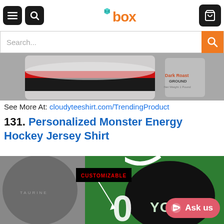box - navigation header with menu, search, and cart icons
Search...
[Figure (photo): Partial image of a dark roast ground coffee bag product on a grey background]
See More At: cloudyteeshirt.com/TrendingProduct
131. Personalized Monster Energy Hockey Jersey Shirt
[Figure (photo): Green and black Monster Energy personalized hockey jersey shirt with CUSTOMIZABLE badge and an arrow pointing to the jersey, with YOUR text visible and Monster Energy cans in background. Ask us button visible bottom right.]